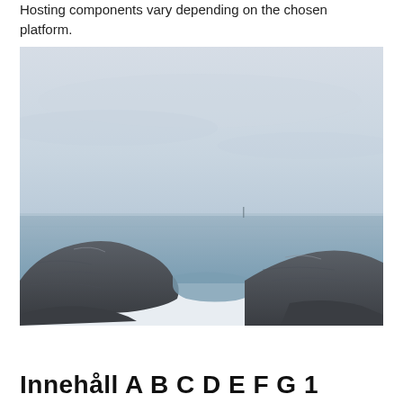Hosting components vary depending on the chosen platform.
[Figure (photo): A coastal seascape photograph showing rocky shoreline in the foreground with calm grey-blue water and an overcast sky in the background.]
Innehåll A B C D E F G 1